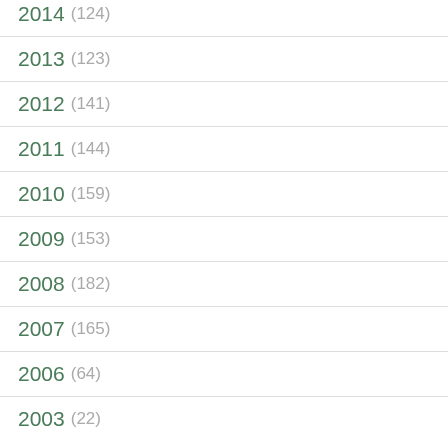2014 (124)
2013 (123)
2012 (141)
2011 (144)
2010 (159)
2009 (153)
2008 (182)
2007 (165)
2006 (64)
2003 (22)